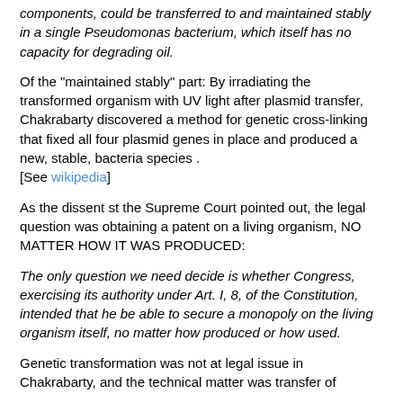components, could be transferred to and maintained stably in a single Pseudomonas bacterium, which itself has no capacity for degrading oil.
Of the "maintained stably" part: By irradiating the transformed organism with UV light after plasmid transfer, Chakrabarty discovered a method for genetic cross-linking that fixed all four plasmid genes in place and produced a new, stable, bacteria species . [See wikipedia]
As the dissent st the Supreme Court pointed out, the legal question was obtaining a patent on a living organism, NO MATTER HOW IT WAS PRODUCED:
The only question we need decide is whether Congress, exercising its authority under Art. I, 8, of the Constitution, intended that he be able to secure a monopoly on the living organism itself, no matter how produced or how used.
Genetic transformation was not at legal issue in Chakrabarty, and the technical matter was transfer of